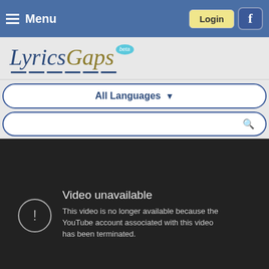Menu | Login
[Figure (logo): LyricsGaps beta logo with blue and gold/olive italic text, dashed underline]
All Languages ▼
🔍
[Figure (screenshot): Dark video player area showing 'Video unavailable' error message. Icon of exclamation mark in circle. Text: 'This video is no longer available because the YouTube account associated with this video has been terminated.']